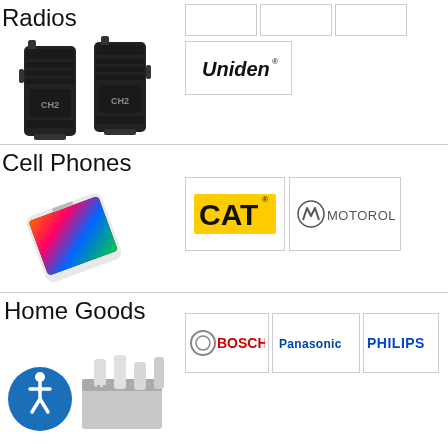Radios
[Figure (photo): Two black Motorola walkie-talkie radios side by side showing CH2 label]
[Figure (logo): Uniden logo in black italic text]
[Figure (logo): Empty brand cell 1]
[Figure (logo): Empty brand cell 2]
Cell Phones
[Figure (photo): Samsung smartphone showing colorful display screen laid flat]
[Figure (logo): CAT logo yellow background black text]
[Figure (logo): Motorola logo with batwing M icon]
Home Goods
[Figure (photo): Home goods items with accessibility icon and appliance box]
[Figure (logo): Bosch logo with circular icon]
[Figure (logo): Panasonic logo in blue]
[Figure (logo): Philips logo in blue]